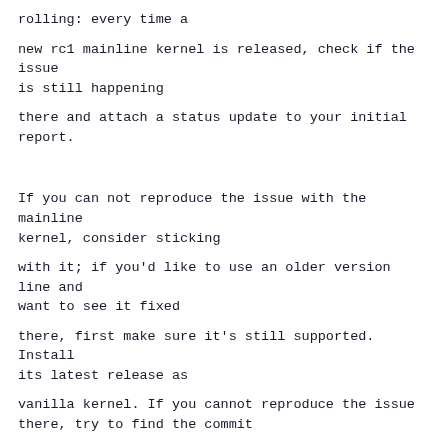rolling: every time a
new rc1 mainline kernel is released, check if the issue is still happening
there and attach a status update to your initial report.
If you can not reproduce the issue with the mainline kernel, consider sticking
with it; if you'd like to use an older version line and want to see it fixed
there, first make sure it's still supported. Install its latest release as
vanilla kernel. If you cannot reproduce the issue there, try to find the commit
that fixed it in mainline or any discussion preceding it: those will often
mention if backporting is planed or considered too complex. If backporting was
not discussed, ask if it's in the cards. In case you don't find any commits or